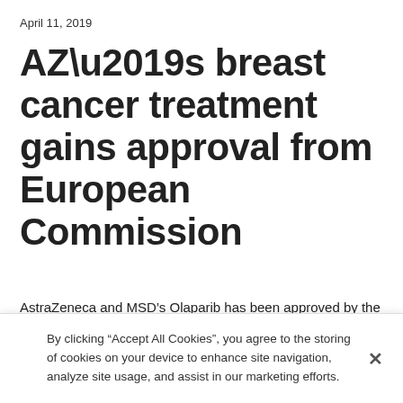April 11, 2019
AZ’s breast cancer treatment gains approval from European Commission
AstraZeneca and MSD’s Olaparib has been approved by the European Commission for the treatment of germline BRCA-mutated HER2-negative metastatic breast cancer. The approval allows for the first PARP inhibitor approved in
By clicking “Accept All Cookies”, you agree to the storing of cookies on your device to enhance site navigation, analyze site usage, and assist in our marketing efforts.